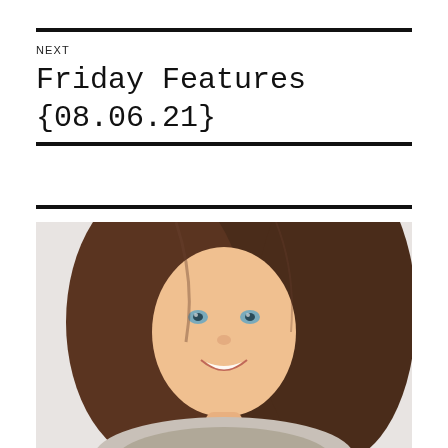NEXT
Friday Features {08.06.21}
[Figure (photo): Portrait photo of a young woman with long brown hair, blue eyes, and a smile, photographed against a light gray background.]